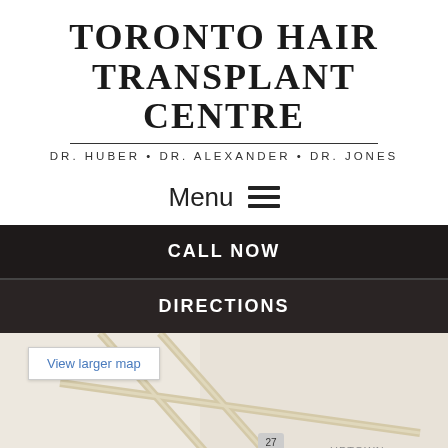TORONTO HAIR TRANSPLANT CENTRE
DR. HUBER • DR. ALEXANDER • DR. JONES
Menu ☰
CALL NOW
DIRECTIONS
[Figure (map): Google Maps view showing area around Toronto Hair Transplant Centre with roads, Uptown label, Fortinos, Holiday, and Trafalgar area visible. A 'View larger map' button is shown in the top left of the map.]